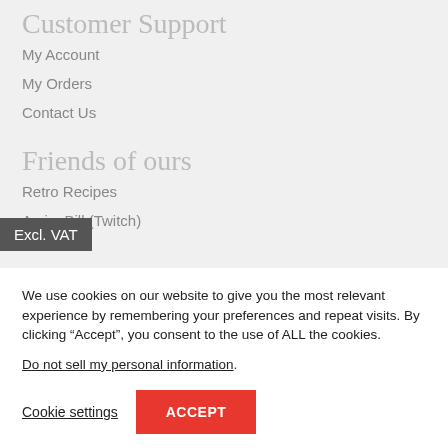Customer Support
My Account
My Orders
Contact Us
Friends of ours
Retro Recipes
Excl. VAT
AmigaBill (Twitch)
We use cookies on our website to give you the most relevant experience by remembering your preferences and repeat visits. By clicking “Accept”, you consent to the use of ALL the cookies.
Do not sell my personal information.
Cookie settings
ACCEPT